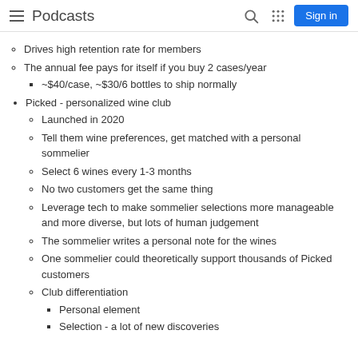Podcasts
Drives high retention rate for members
The annual fee pays for itself if you buy 2 cases/year
~$40/case, ~$30/6 bottles to ship normally
Picked - personalized wine club
Launched in 2020
Tell them wine preferences, get matched with a personal sommelier
Select 6 wines every 1-3 months
No two customers get the same thing
Leverage tech to make sommelier selections more manageable and more diverse, but lots of human judgement
The sommelier writes a personal note for the wines
One sommelier could theoretically support thousands of Picked customers
Club differentiation
Personal element
Selection - a lot of new discoveries